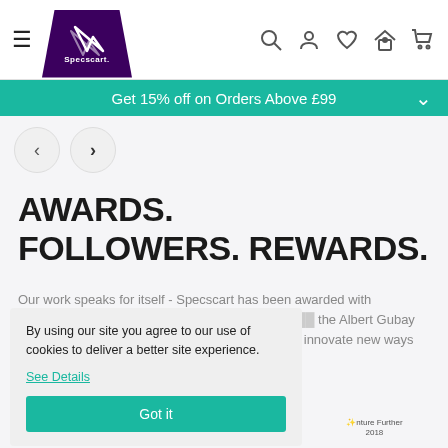Specscart navigation header with hamburger menu, logo, search, account, wishlist, store, and cart icons
Get 15% off on Orders Above £99
AWARDS.
FOLLOWERS. REWARDS.
Our work speaks for itself - Specscart has been awarded with multiple awards and loved on various platforms since [obscured] the Albert Gubay Award in [obscured] nture Further 2018 Business [obscured] o innovate new ways and [obscured] o buy glasses online in the
By using our site you agree to our use of cookies to deliver a better site experience.
See Details
Got it
[Figure (logo): Award partner logos at the bottom of the page including Venture Further 2018]